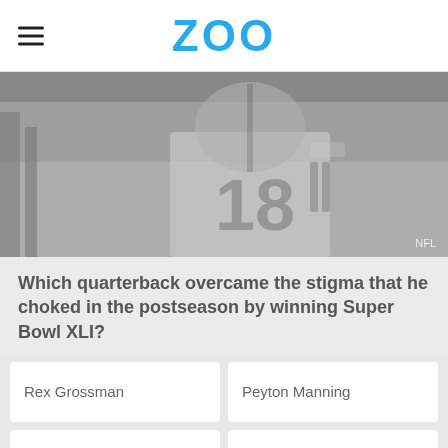ZOO
[Figure (photo): Grayscale photo of an NFL quarterback wearing jersey number 18, with NFL tag in bottom right corner]
Which quarterback overcame the stigma that he choked in the postseason by winning Super Bowl XLI?
Rex Grossman
Peyton Manning
Tom Brady
Brad Johnson